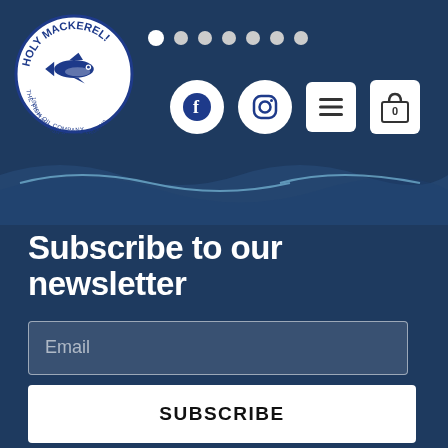[Figure (logo): Holy Mackerel! The Fish Oil Company logo — circular badge with fish illustration and text '100% Pure Fish Oil For Angling']
Subscribe to our newsletter
Email
SUBSCRIBE